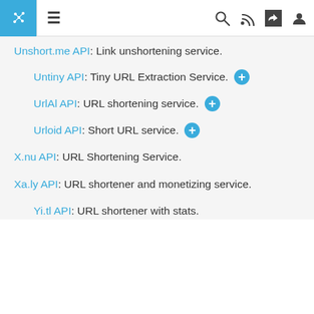[Navigation bar with puzzle icon, hamburger menu, search, RSS, share, and user icons]
Unshort.me API: Link unshortening service.
Untiny API: Tiny URL Extraction Service. [+]
UrlAl API: URL shortening service. [+]
Urloid API: Short URL service. [+]
X.nu API: URL Shortening Service.
Xa.ly API: URL shortener and monetizing service.
Yi.tl API: URL shortener with stats.